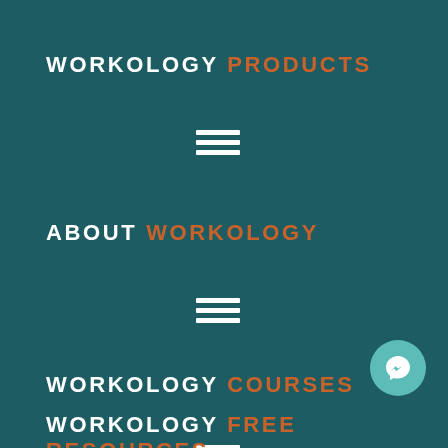WORKOLOGY PRODUCTS
[Figure (other): Hamburger menu icon (three horizontal white lines)]
ABOUT WORKOLOGY
[Figure (other): Hamburger menu icon (three horizontal white lines)]
WORKOLOGY COURSES
[Figure (other): Hamburger menu icon (three horizontal white lines)]
[Figure (other): Facebook Messenger circular button icon]
WORKOLOGY FREE RESOURCES